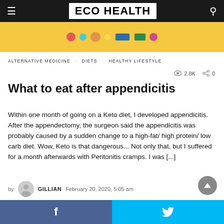ECO HEALTH
[Figure (photo): Hero image with yellow background and colorful decorative elements]
ALTERNATIVE MEDICINE · DIETS · HEALTHY LIFESTYLE
2.8K  0
What to eat after appendicitis
Within one month of going on a Keto diet, I developed appendicitis.  After the appendectomy, the surgeon said the appendicitis was probably caused by a sudden change to a high-fat/ high protein/ low carb diet. Wow, Keto is that dangerous... Not only that, but I suffered for a month afterwards with Peritonitis cramps. I was [...]
by GILLIAN  February 20, 2020, 5:05 am
f  (Facebook share)  |  Twitter share